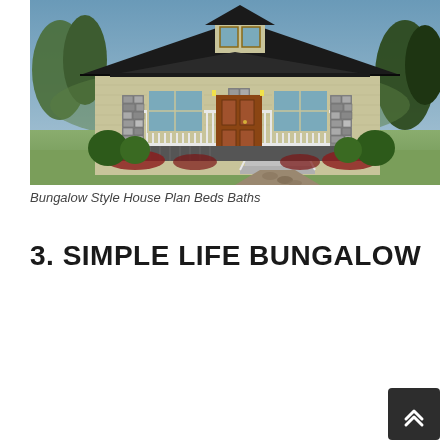[Figure (photo): Rendered 3D illustration of a bungalow style house with a covered front porch, stone columns, dark roof, green siding, and landscaping including shrubs and trees in the background.]
Bungalow Style House Plan Beds Baths
3. SIMPLE LIFE BUNGALOW